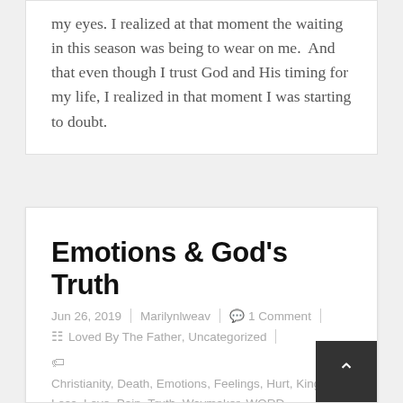my eyes. I realized at that moment the waiting in this season was being to wear on me.  And that even though I trust God and His timing for my life, I realized in that moment I was starting to doubt.
Emotions & God's Truth
Jun 26, 2019 | Marilynlweav | 1 Comment | Loved By The Father, Uncategorized
Christianity, Death, Emotions, Feelings, Hurt, King, Loss, Love, Pain, Truth, Waymaker, WORD
Tonight at church I had a hard time singing these lyrics to this song as I was processing my friend's